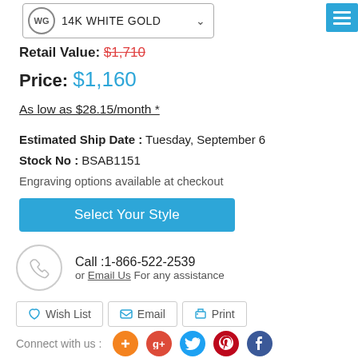WG  14K WHITE GOLD
Retail Value: $1,710
Price: $1,160
As low as $28.15/month *
Estimated Ship Date : Tuesday, September 6
Stock No : BSAB1151
Engraving options available at checkout
Select Your Style
Call :1-866-522-2539
or Email Us For any assistance
Wish List
Email
Print
Connect with us :